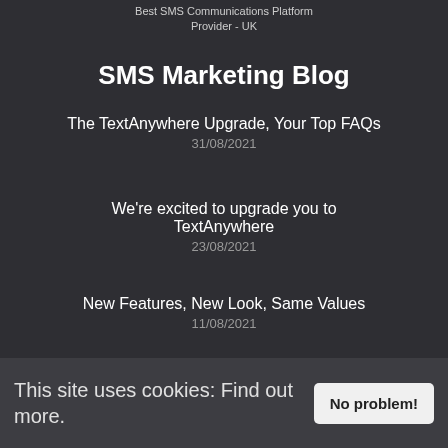Best SMS Communications Platform Provider - UK
SMS Marketing Blog
The TextAnywhere Upgrade, Your Top FAQs
31/08/2021
We're excited to upgrade you to TextAnywhere
23/08/2021
New Features, New Look, Same Values
11/08/2021
[Figure (logo): TextSMS logo with green square icon, partially visible at bottom]
This site uses cookies: Find out more.
No problem!